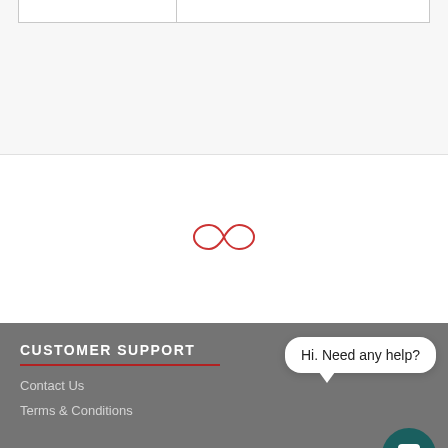|  |
[Figure (illustration): Red infinity/loading spinner SVG icon centered on white background]
CUSTOMER SUPPORT
Contact Us
Terms & Conditions
Hi. Need any help?